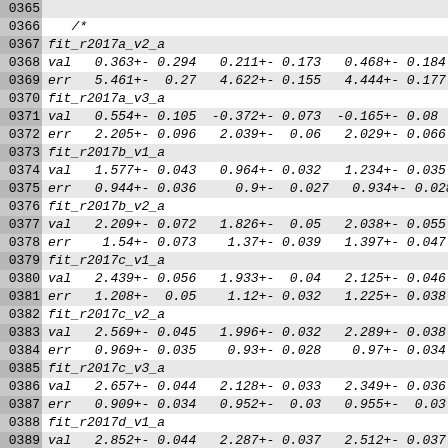0365
0366   /*
0367 fit_r2017a_v2_a
0368 val   0.363+- 0.294   0.211+- 0.173   0.468+- 0.184
0369 err   5.461+- 0.27    4.622+- 0.155   4.444+- 0.177
0370 fit_r2017a_v3_a
0371 val   0.554+- 0.105  -0.372+- 0.073  -0.165+- 0.08
0372 err   2.205+- 0.096   2.039+- 0.06    2.029+- 0.066
0373 fit_r2017b_v1_a
0374 val   1.577+- 0.043   0.964+- 0.032   1.234+- 0.035
0375 err   0.944+- 0.036   0.9+- 0.027     0.934+- 0.028
0376 fit_r2017b_v2_a
0377 val   2.209+- 0.072   1.826+- 0.05    2.038+- 0.055
0378 err   1.54+- 0.073    1.37+- 0.039    1.397+- 0.047
0379 fit_r2017c_v1_a
0380 val   2.439+- 0.056   1.933+- 0.04    2.125+- 0.046
0381 err   1.208+- 0.05    1.12+- 0.032    1.225+- 0.038
0382 fit_r2017c_v2_a
0383 val   2.569+- 0.045   1.996+- 0.032   2.289+- 0.038
0384 err   0.969+- 0.035   0.93+- 0.028    0.97+- 0.034
0385 fit_r2017c_v3_a
0386 val   2.657+- 0.044   2.128+- 0.033   2.349+- 0.036
0387 err   0.909+- 0.034   0.952+- 0.03    0.955+- 0.03
0388 fit_r2017d_v1_a
0389 val   2.852+- 0.044   2.287+- 0.037   2.512+- 0.037
0390 err   0.925+- 0.042   1.019+- 0.032   0.925+- 0.031
0391 fit_r2017e_v1_a
0392 val   3.04+- 0.042    2.448+- 0.034   2.836+- 0.036
0393 err   0.872+- 0.034   0.856+- 0.028   0.9+- 0.03
0394 fit_r2017f_v1_a